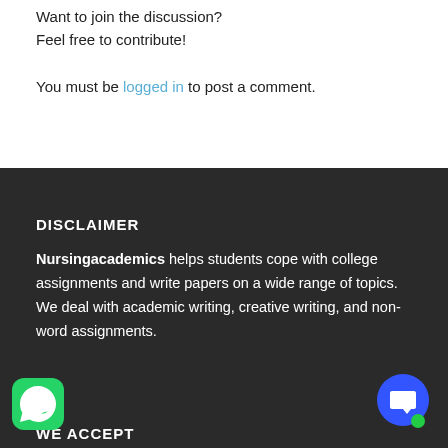Want to join the discussion?
Feel free to contribute!
You must be logged in to post a comment.
DISCLAIMER
Nursingacademics helps students cope with college assignments and write papers on a wide range of topics. We deal with academic writing, creative writing, and non-word assignments.
[Figure (logo): WhatsApp icon - green rounded square with white phone handset]
[Figure (logo): Blue chat bubble icon with white speech bubble and green dot]
WE ACCEPT